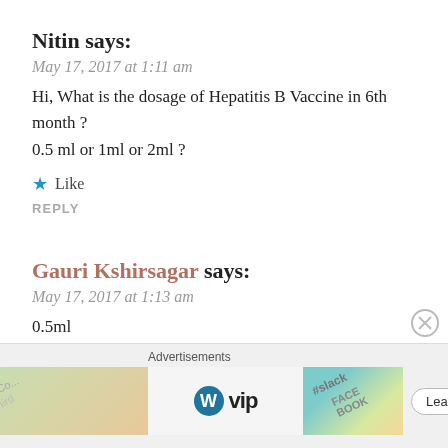Nitin says:
May 17, 2017 at 1:11 am
Hi, What is the dosage of Hepatitis B Vaccine in 6th month ? 0.5 ml or 1ml or 2ml ?
★ Like
REPLY
Gauri Kshirsagar says:
May 17, 2017 at 1:13 am
0.5ml
★ Like
REPLY
Advertisements